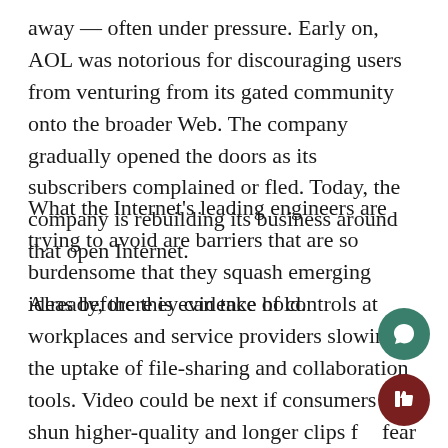away — often under pressure. Early on, AOL was notorious for discouraging users from venturing from its gated community onto the broader Web. The company gradually opened the doors as its subscribers complained or fled. Today, the company is rebuilding its business around that open Internet.
What the Internet's leading engineers are trying to avoid are barriers that are so burdensome that they squash emerging ideas before they can take hold.
Already, there is evidence of controls at workplaces and service providers slowing the uptake of file-sharing and collaboration tools. Video could be next if consumers shun higher-quality and longer clips for fear of incurring extra bandwidth fees. Likewise, startups may never get a chance to reach users if mobile gatekeepers won't allow them.